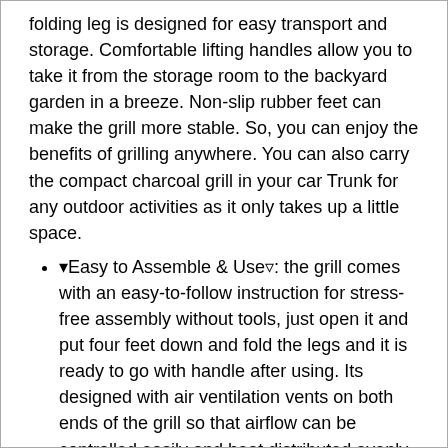folding leg is designed for easy transport and storage. Comfortable lifting handles allow you to take it from the storage room to the backyard garden in a breeze. Non-slip rubber feet can make the grill more stable. So, you can enjoy the benefits of grilling anywhere. You can also carry the compact charcoal grill in your car Trunk for any outdoor activities as it only takes up a little space.
▾Easy to Assemble & Use▿: the grill comes with an easy-to-follow instruction for stress-free assembly without tools, just open it and put four feet down and fold the legs and it is ready to go with handle after using. Its designed with air ventilation vents on both ends of the grill so that airflow can be controlled easily and heat distributed evenly throughout the grill.
▾Healthy & Premium Quality▿: made of rust-resistant stainless steel for years of worry-free use. Heat-resistant and not easy to be deformed. Safe and healthy and non-toxic smoke. Included with the grill is small and